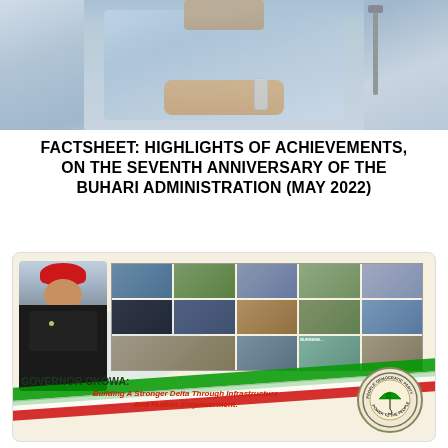[Figure (photo): Photo of President Buhari seated at a desk in blue attire, with a microphone stand visible to the right]
FACTSHEET: HIGHLIGHTS OF ACHIEVEMENTS, ON THE SEVENTH ANNIVERSARY OF THE BUHARI ADMINISTRATION (MAY 2022)
[Figure (infographic): Governor Okowa banner with photo of the governor in black attire and red cap, collage of infrastructure project photos, PDP party logo, green and red ribbon decoration, and tagline: GOVERNOR OKOWA: Building A Stronger Delta Through Infrastructure And Human Empowerment.]